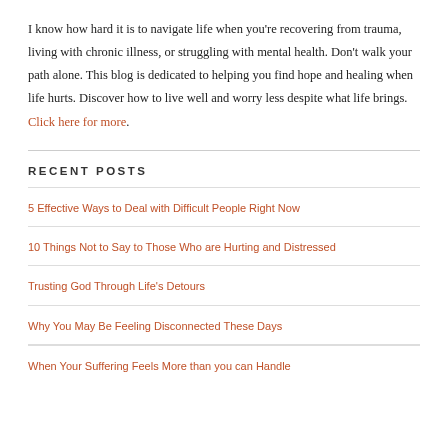I know how hard it is to navigate life when you're recovering from trauma, living with chronic illness, or struggling with mental health. Don't walk your path alone. This blog is dedicated to helping you find hope and healing when life hurts. Discover how to live well and worry less despite what life brings. Click here for more.
RECENT POSTS
5 Effective Ways to Deal with Difficult People Right Now
10 Things Not to Say to Those Who are Hurting and Distressed
Trusting God Through Life's Detours
Why You May Be Feeling Disconnected These Days
When Your Suffering Feels More than you can Handle